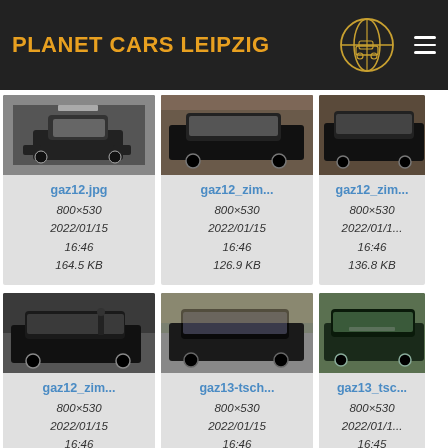PLANET CARS LEIPZIG
[Figure (screenshot): Website screenshot showing a grid of car image thumbnails (GAZ12/ZIM vintage Soviet cars) with filenames, dimensions, dates and file sizes. Page header shows 'PLANET CARS LEIPZIG' in orange on dark background with globe logo.]